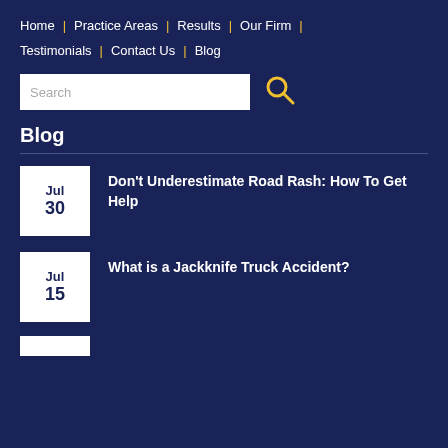Home | Practice Areas | Results | Our Firm | Testimonials | Contact Us | Blog
Search
Blog
Jul 30 — Don't Underestimate Road Rash: How To Get Help
Jul 15 — What is a Jackknife Truck Accident?